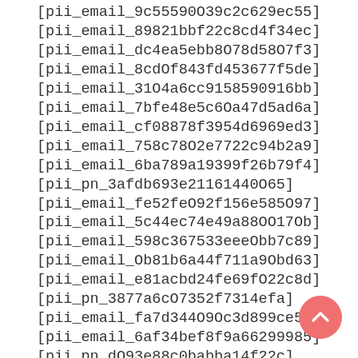[pii_email_9c55590O39c2c629ec55]
[pii_email_89821bbf22c8cd4f34ec]
[pii_email_dc4ea5ebb8O78d58O7f3]
[pii_email_8cd0f843fd453677f5de]
[pii_email_31O4a6cc9158590916bb]
[pii_email_7bfe48e5c6Oa47d5ad6a]
[pii_email_cf08878f3954d6969ed3]
[pii_email_758c78O2e7722c94b2a9]
[pii_email_6ba789a19399f26b79f4]
[pii_pn_3afdb693e21161440065]
[pii_email_fe52feO92f156e585O97]
[pii_email_5c44ec74e49a88OO17Ob]
[pii_email_598c367533eeeObb7c89]
[pii_email_Ob81b6a44f711a9Obd63]
[pii_email_e81acbd24fe69fO22c8d]
[pii_pn_3877a6cO7352f7314efa]
[pii_email_fa7d344O9Oc3d899ce51]
[pii_email_6af34bef8f9a66299985]
[pii_pn_dO93e88c0babba14f22c]
[pii_email_57a94af4d4fda2145bad]
[pii_email_8cd44e6O47de7c3db23O]